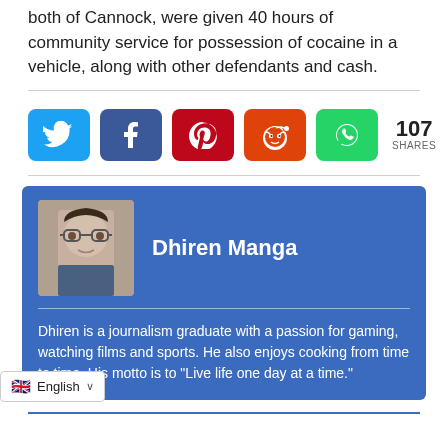both of Cannock, were given 40 hours of community service for possession of cocaine in a vehicle, along with other defendants and cash.
[Figure (infographic): Social share buttons: Twitter, Facebook, Pinterest, Reddit, WhatsApp. Share count: 107 SHARES.]
[Figure (photo): Author bio card with photo of Dhiren Manga. Name: Dhiren Manga. Bio: Dhiren is a journalism graduate with a passion for gaming, watching films and sports. He also enjoys cooking from time to time. His motto is to "Live life one day at a time."]
English